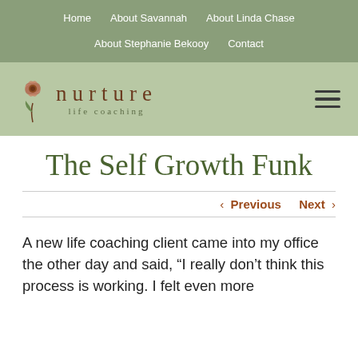Home   About Savannah   About Linda Chase   About Stephanie Bekooy   Contact
[Figure (logo): Nurture Life Coaching logo with a flower illustration and the word 'nurture' in brown serif letters with 'life coaching' below, and a hamburger menu icon on the right]
The Self Growth Funk
< Previous   Next >
A new life coaching client came into my office the other day and said, “I really don’t think this process is working. I felt even more